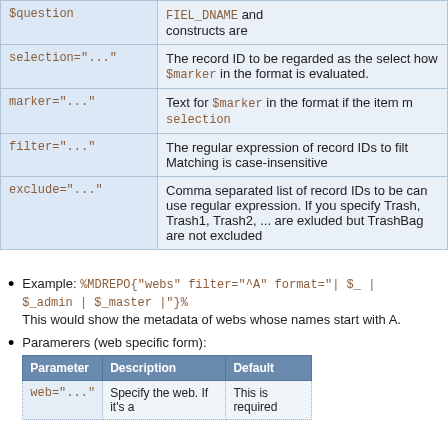| Parameter | Description |
| --- | --- |
| $question | FIEL_DNAME and constructs are... |
| selection="..." | The record ID to be regarded as the select how $marker in the format is evaluated. |
| marker="..." | Text for $marker in the format if the item ma selection |
| filter="..." | The regular expression of record IDs to filt Matching is case-insensitive |
| exclude="..." | Comma separated list of record IDs to be can use regular expression. If you specify Trash, Trash1, Trash2, ... are exluded but TrashBag are not excluded |
Example: %MDREPO{"webs" filter="^A" format="| $_ | $_admin | $_master |"} This would show the metadata of webs whose names start with A.
Paramerers (web specific form):
| Parameter | Description | Default |
| --- | --- | --- |
| web="..." | Specify the web. If it's a | This is required |